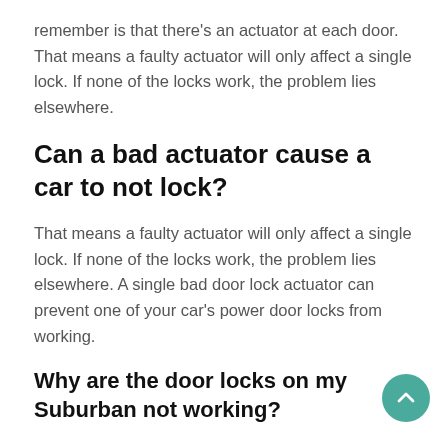remember is that there’s an actuator at each door. That means a faulty actuator will only affect a single lock. If none of the locks work, the problem lies elsewhere.
Can a bad actuator cause a car to not lock?
That means a faulty actuator will only affect a single lock. If none of the locks work, the problem lies elsewhere. A single bad door lock actuator can prevent one of your car’s power door locks from working.
Why are the door locks on my Suburban not working?